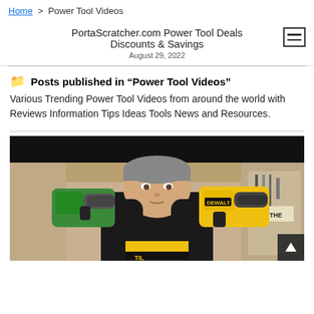Home > Power Tool Videos
PortaScratcher.com Power Tool Deals Discounts & Savings
August 29, 2022
Posts published in "Power Tool Videos"
Various Trending Power Tool Videos from around the world with Reviews Information Tips Ideas Tools News and Resources.
[Figure (photo): A man in a black t-shirt holding two power drills - a green one in his left hand and a yellow DeWalt drill in his right hand, in what appears to be a workshop/garage setting with tools on the wall behind him.]